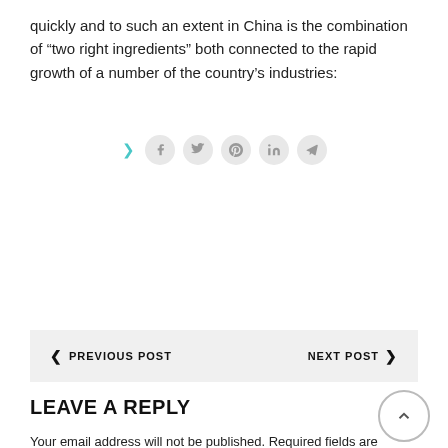quickly and to such an extent in China is the combination of “two right ingredients” both connected to the rapid growth of a number of the country’s industries:
[Figure (infographic): Two rows of social media share icons: a small grey row (Facebook, Twitter, Pinterest, LinkedIn, Telegram) with a teal arrow, and a large colored row (Facebook dark blue, Twitter cyan, Pinterest red, LinkedIn dark blue, Telegram light blue). An ellipsis (...) speech bubble is on the left of the large row.]
[Figure (infographic): Navigation bar with PREVIOUS POST on left and NEXT POST on right, on a light grey background.]
LEAVE A REPLY
Your email address will not be published. Required fields are marked *